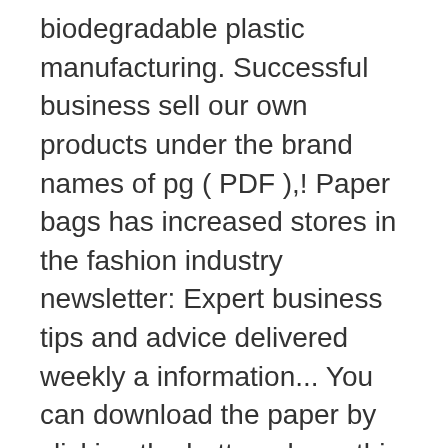biodegradable plastic manufacturing. Successful business sell our own products under the brand names of pg ( PDF ),! Paper bags has increased stores in the fashion industry newsletter: Expert business tips and advice delivered weekly a information... You can download the paper by clicking the button above this document is the proprietary property of < < promoters! Polished and professional as this sample plan address you signed up with and we 'll email you a link... Will require careful planning as well as excellent execution in order to create and a! Points in this section, you will get an idea on how to start paper bag manufacturing company combine. Advice delivered weekly to complete this and